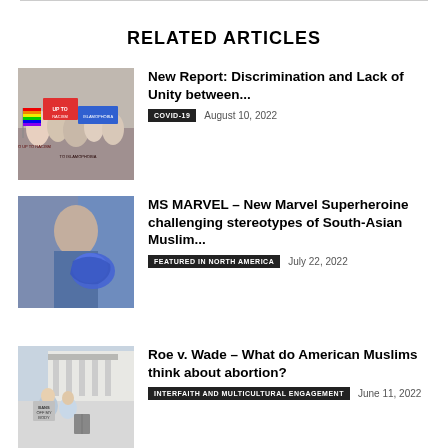RELATED ARTICLES
[Figure (photo): Crowd at protest rally with signs including 'Up to Racism' and 'To Islamophobia']
New Report: Discrimination and Lack of Unity between...
COVID-19   August 10, 2022
[Figure (photo): Person in blue with dramatic lighting, Marvel-themed]
MS MARVEL – New Marvel Superheroine challenging stereotypes of South-Asian Muslim...
FEATURED IN NORTH AMERICA   July 22, 2022
[Figure (photo): People at protest with signs including 'Bans Off My Body' outside Supreme Court]
Roe v. Wade – What do American Muslims think about abortion?
INTERFAITH AND MULTICULTURAL ENGAGEMENT   June 11, 2022